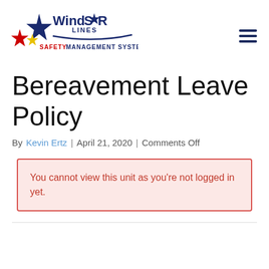[Figure (logo): WindStar Lines Safety Management System logo with colorful star graphics and stylized text]
Bereavement Leave Policy
By Kevin Ertz | April 21, 2020 | Comments Off
You cannot view this unit as you're not logged in yet.